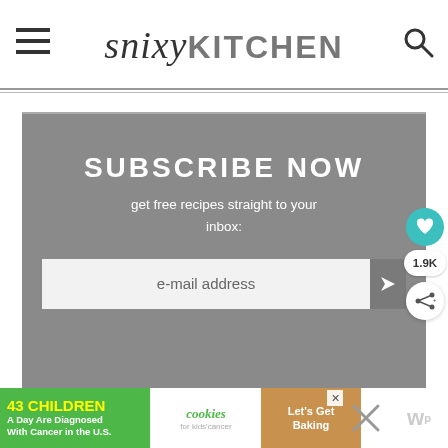Snixy KITCHEN
[Figure (screenshot): Subscribe Now box with gray background, email input field, and arrow submit button]
SUBSCRIBE NOW
get free recipes straight to your inbox:
e-mail address
[Figure (infographic): Advertisement banner: 43 Children A Day Are Diagnosed With Cancer in the U.S. - cookies for kids cancer - Let's Get Baking]